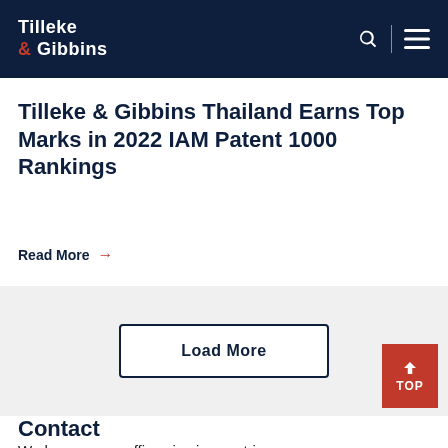Tilleke & Gibbins
Tilleke & Gibbins Thailand Earns Top Marks in 2022 IAM Patent 1000 Rankings
Read More →
Load More
Contact
We have seven offices in six countries